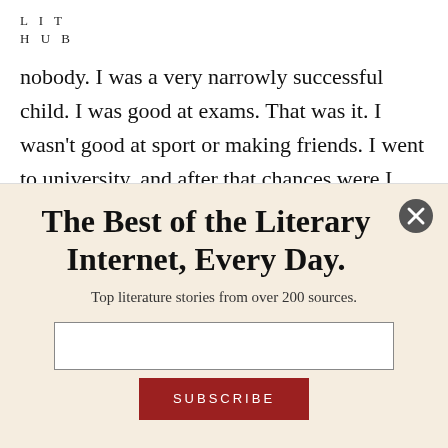LIT
HUB
nobody. I was a very narrowly successful child. I was good at exams. That was it. I wasn't good at sport or making friends. I went to university, and after that chances were I would still end up like my mother, in a kitchen. And I did end up in a kitchen. But that was okay, because it wasn't
The Best of the Literary Internet, Every Day.
Top literature stories from over 200 sources.
[Figure (other): Email subscription input field (text box)]
SUBSCRIBE